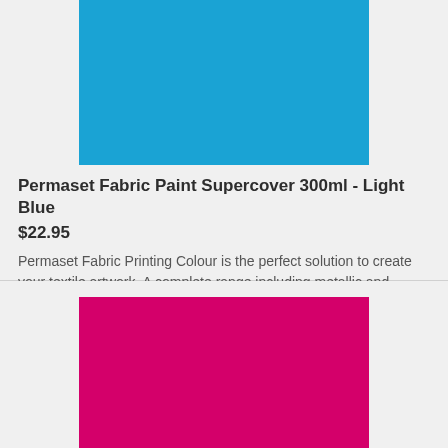[Figure (photo): Light blue colored rectangle swatch representing the Permaset Fabric Paint Supercover 300ml in Light Blue color]
Permaset Fabric Paint Supercover 300ml - Light Blue
$22.95
Permaset Fabric Printing Colour is the perfect solution to create your textile artwork. A complete range including metallic and fluorescent colours ensures your creativity is unlimited. All colours are water based so...
[Figure (photo): Hot pink/magenta colored rectangle swatch representing a Permaset Fabric Paint Supercover product]